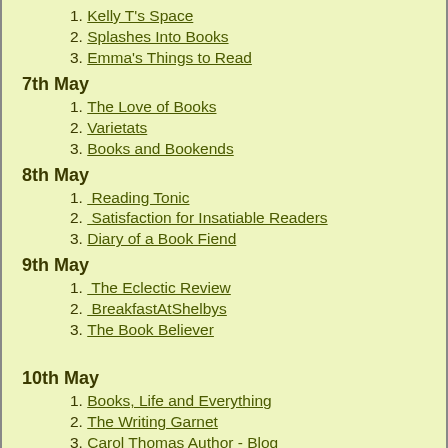1. Kelly T's Space
2. Splashes Into Books
3. Emma's Things to Read
7th May
1. The Love of Books
2. Varietats
3. Books and Bookends
8th May
1.  Reading Tonic
2.  Satisfaction for Insatiable Readers
3. Diary of a Book Fiend
9th May
1.  The Eclectic Review
2.  BreakfastAtShelbys
3. The Book Believer
10th May
1. Books, Life and Everything
2. The Writing Garnet
3. Carol Thomas Author - Blog
11th May
1. Book Reviews by Satabdi
2. dinipandareads